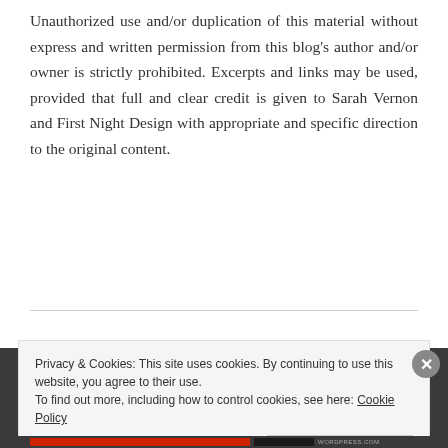Unauthorized use and/or duplication of this material without express and written permission from this blog's author and/or owner is strictly prohibited. Excerpts and links may be used, provided that full and clear credit is given to Sarah Vernon and First Night Design with appropriate and specific direction to the original content.
Privacy & Cookies: This site uses cookies. By continuing to use this website, you agree to their use. To find out more, including how to control cookies, see here: Cookie Policy
Close and accept